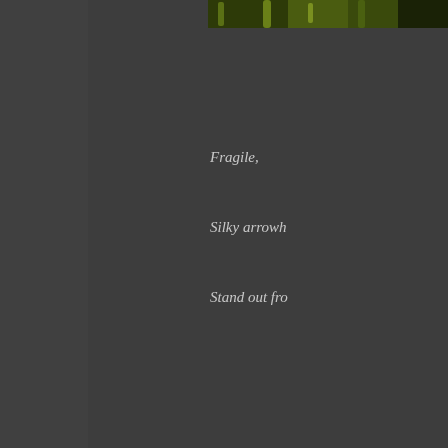[Figure (photo): Partial view of green plant foliage, cropped at top of page, right side]
Fragile,
Silky arrowh
Stand out fro
[Figure (photo): Close-up photograph of a large green iris or similar plant leaf, with blue flower visible in background, right side of page]